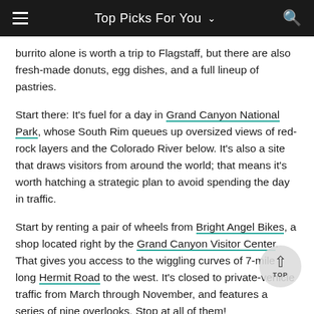Top Picks For You
burrito alone is worth a trip to Flagstaff, but there are also fresh-made donuts, egg dishes, and a full lineup of pastries.
Start there: It's fuel for a day in Grand Canyon National Park, whose South Rim queues up oversized views of red-rock layers and the Colorado River below. It's also a site that draws visitors from around the world; that means it's worth hatching a strategic plan to avoid spending the day in traffic.
Start by renting a pair of wheels from Bright Angel Bikes, a shop located right by the Grand Canyon Visitor Center. That gives you access to the wiggling curves of 7-mile long Hermit Road to the west. It's closed to private-vehicle traffic from March through November, and features a series of nine overlooks. Stop at all of them!
By the time you make it back to the bike shop, it will be time for lunch at the El Tovar Hotel, a historic landmark that